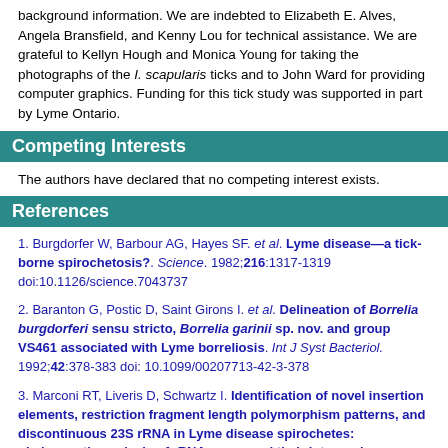background information. We are indebted to Elizabeth E. Alves, Angela Bransfield, and Kenny Lou for technical assistance. We are grateful to Kellyn Hough and Monica Young for taking the photographs of the I. scapularis ticks and to John Ward for providing computer graphics. Funding for this tick study was supported in part by Lyme Ontario.
Competing Interests
The authors have declared that no competing interest exists.
References
1. Burgdorfer W, Barbour AG, Hayes SF. et al. Lyme disease—a tick-borne spirochetosis?. Science. 1982;216:1317-1319 doi:10.1126/science.7043737
2. Baranton G, Postic D, Saint Girons I. et al. Delineation of Borrelia burgdorferi sensu stricto, Borrelia garinii sp. nov. and group VS461 associated with Lyme borreliosis. Int J Syst Bacteriol. 1992;42:378-383 doi: 10.1099/00207713-42-3-378
3. Marconi RT, Liveris D, Schwartz I. Identification of novel insertion elements, restriction fragment length polymorphism patterns, and discontinuous 23S rRNA in Lyme disease spirochetes: phylogenetic analysis of rRNA genes and their intergenic spacers in Borrelia japonica sp. nov. and genomic group (Borrelia andersonii sp. nov.) isolates. J Clin Microbiol. 1995;33:2427-2434 http://www.researchgate.net/publication/15705144_4
4. Postic D, Ras NM, Lane RS. et al. Expanded diversity among